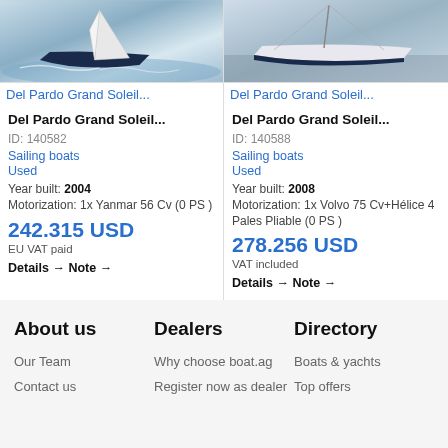[Figure (photo): Sailing boat Del Pardo Grand Soleil underway in rough water, left listing]
Del Pardo Grand Soleil...
Del Pardo Grand Soleil...
ID: 140582
Sailing boats
Used
Year built: 2004
Motorization: 1x Yanmar 56 Cv (0 PS )
242.315 USD
EU VAT paid
Details → Note →
[Figure (photo): Sailing boat Del Pardo Grand Soleil docked in marina, right listing]
Del Pardo Grand Soleil...
Del Pardo Grand Soleil...
ID: 140588
Sailing boats
Used
Year built: 2008
Motorization: 1x Volvo 75 Cv+Hélice 4 Pales Pliable (0 PS )
278.256 USD
VAT included
Details → Note →
About us
Dealers
Directory
Our Team
Contact us
Why choose boat.ag
Register now as dealer
Boats & yachts
Top offers